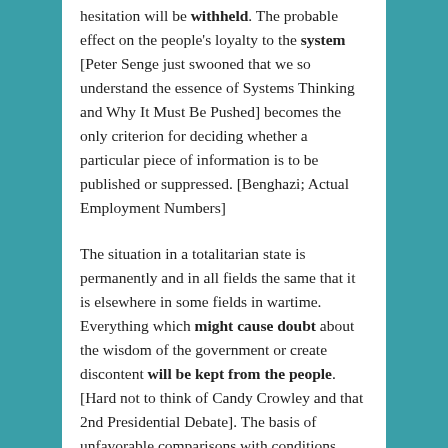hesitation will be withheld. The probable effect on the people's loyalty to the system [Peter Senge just swooned that we so understand the essence of Systems Thinking and Why It Must Be Pushed] becomes the only criterion for deciding whether a particular piece of information is to be published or suppressed. [Benghazi; Actual Employment Numbers]
The situation in a totalitarian state is permanently and in all fields the same that it is elsewhere in some fields in wartime. Everything which might cause doubt about the wisdom of the government or create discontent will be kept from the people. [Hard not to think of Candy Crowley and that 2nd Presidential Debate]. The basis of unfavorable comparisons with conditions elsewhere, the knowledge of possible alternatives to the course actually taken, information which might suggest failure on the part of the government to live up to its promises or to take advantage of opportunities to improve conditions–all will be suppressed. There is consequently no field where the systematic control of information will not be practiced and uniformity of views not enforced."